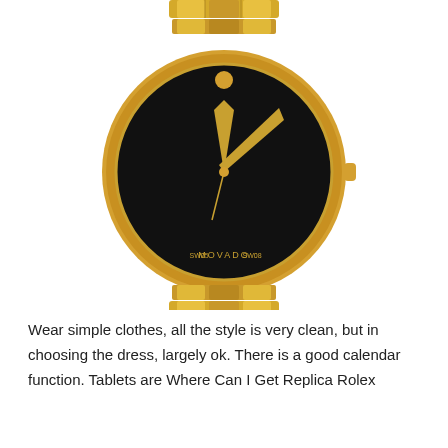[Figure (photo): A Movado watch with a gold-tone stainless steel case and bracelet, featuring a minimalist black Museum dial with a single gold dot at 12 o'clock and gold-tone hands. The watch face reads MOVADO at the bottom.]
Wear simple clothes, all the style is very clean, but in choosing the dress, largely ok. There is a good calendar function. Tablets are Where Can I Get Replica Rolex